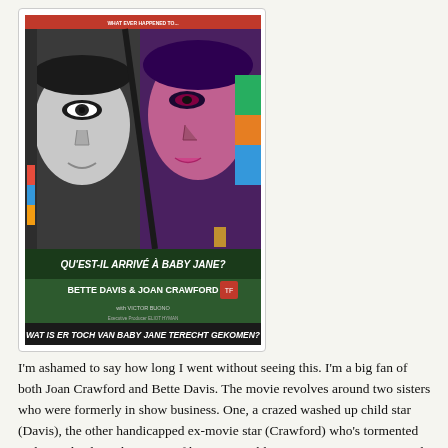[Figure (photo): Movie poster for 'What Ever Happened to Baby Jane?' showing two stylized faces — one in grayscale on the left, one in pink/purple tones on the right — against a green background. Text reads: QU'EST-IL ARRIVÉ À BABY JANE? BETTE DAVIS & JOAN CRAWFORD with VICTOR BUONO. Also: WAT IS ER TOCH VAN BABY JANE TERECHT GEKOMEN?]
I'm ashamed to say how long I went without seeing this. I'm a big fan of both Joan Crawford and Bette Davis. The movie revolves around two sisters who were formerly in show business. One, a crazed washed up child star (Davis), the other handicapped ex-movie star (Crawford) who's tormented and completely at the mercy of her insane sibling. Victor Buono gave a truly outstanding performance as well.